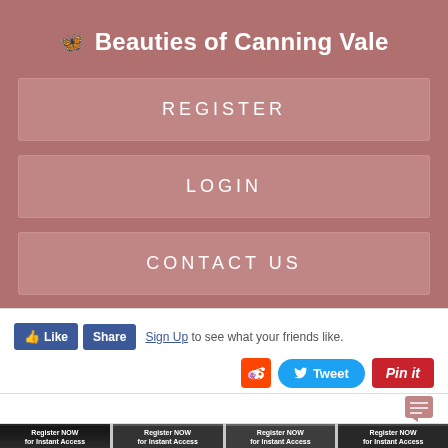Beauties of Canning Vale
REGISTER
LOGIN
CONTACT US
[Figure (screenshot): Facebook Like, Share buttons with Sign Up text, Reddit icon, Tweet button, Pin it button, and comments icon on white background]
[Figure (screenshot): Four dark thumbnail images each labeled Register NOW for Instant Access at the bottom of the page]